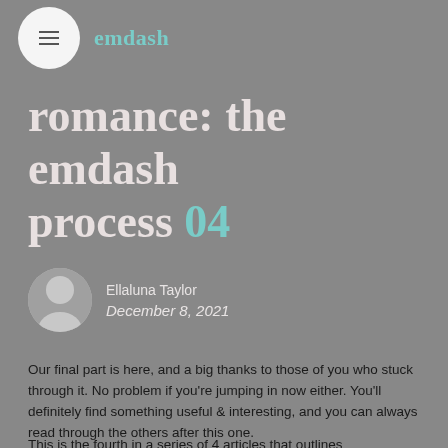emdash
romance: the emdash process 04
Ellaluna Taylor
December 8, 2021
Our final part is here, and a big thanks to those of you who stuck through it. No problem if you're jumping in now either. You'll definitely find something useful & interesting, and you can always read through the others after this one.
This is the fourth in a series of 4 articles that outlines